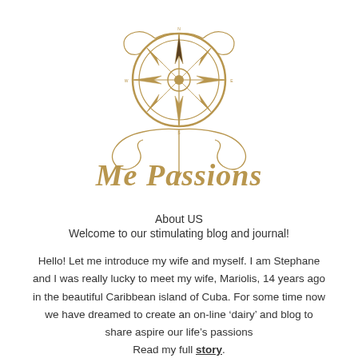[Figure (logo): Decorative compass rose logo with ornamental scrollwork above and below, in gold/brown tones]
Me Passions
About US
Welcome to our stimulating blog and journal!
Hello! Let me introduce my wife and myself. I am Stephane and I was really lucky to meet my wife, Mariolis, 14 years ago in the beautiful Caribbean island of Cuba. For some time now we have dreamed to create an on-line ‘dairy’ and blog to share aspire our life’s passions Read my full story.